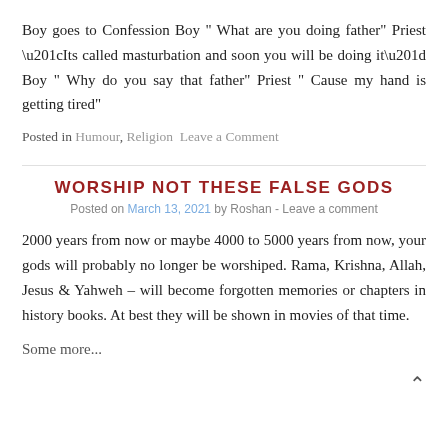Boy goes to Confession Boy " What are you doing father" Priest “Its called masturbation and soon you will be doing it” Boy " Why do you say that father" Priest " Cause my hand is getting tired"
Posted in Humour, Religion  Leave a Comment
WORSHIP NOT THESE FALSE GODS
Posted on March 13, 2021 by Roshan - Leave a comment
2000 years from now or maybe 4000 to 5000 years from now, your gods will probably no longer be worshiped. Rama, Krishna, Allah, Jesus & Yahweh – will become forgotten memories or chapters in history books. At best they will be shown in movies of that time.
Some more...